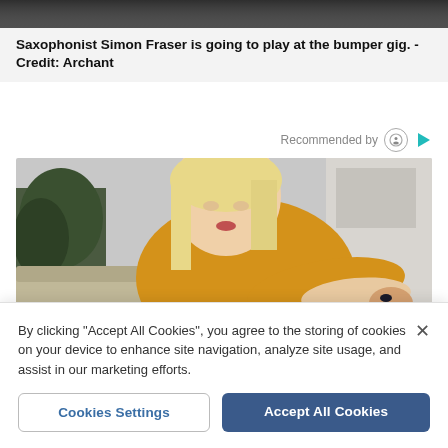[Figure (photo): Dark/blurred top portion of an image, likely a person or scene at a music event]
Saxophonist Simon Fraser is going to play at the bumper gig. - Credit: Archant
Recommended by
[Figure (photo): A young blonde woman in a yellow/mustard knit sweater looking down at her arm, with dark nail polish, sitting on a couch in a home setting]
By clicking "Accept All Cookies", you agree to the storing of cookies on your device to enhance site navigation, analyze site usage, and assist in our marketing efforts.